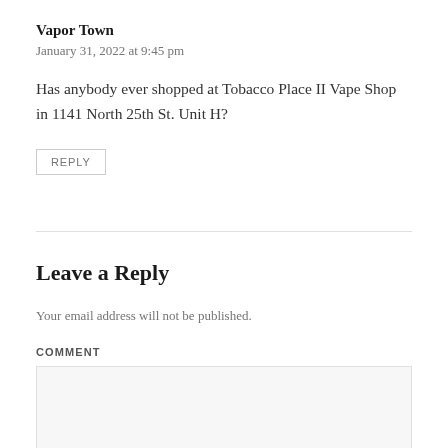Vapor Town
January 31, 2022 at 9:45 pm
Has anybody ever shopped at Tobacco Place II Vape Shop in 1141 North 25th St. Unit H?
REPLY
Leave a Reply
Your email address will not be published.
COMMENT